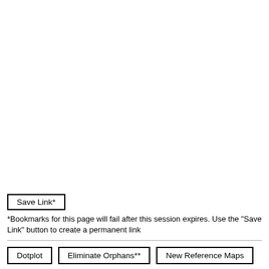Save Link*
*Bookmarks for this page will fail after this session expires. Use the "Save Link" button to create a permanent link
Dotplot | Eliminate Orphans** | New Reference Maps